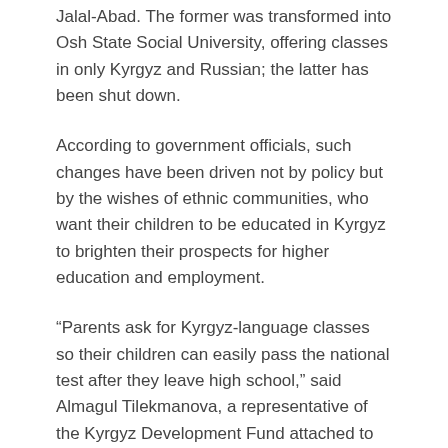Jalal-Abad. The former was transformed into Osh State Social University, offering classes in only Kyrgyz and Russian; the latter has been shut down.
According to government officials, such changes have been driven not by policy but by the wishes of ethnic communities, who want their children to be educated in Kyrgyz to brighten their prospects for higher education and employment.
“Parents ask for Kyrgyz-language classes so their children can easily pass the national test after they leave high school,” said Almagul Tilekmanova, a representative of the Kyrgyz Development Fund attached to the Osh governor’s office. “After they graduate from universities, they can get hired by government bodies, as those who do not speak Kyrgyz cannot. This will facilitate the integration of ethnic Uzbeks into Kyrgyz society.”
Such sentiments are not heard only in government offices. Tavakkalkhan Kamilova, a secondary-school teacher in Osh, said parents there “don’t want their children to go to Uzbek-language schools, because graduates from such schools have no future.”